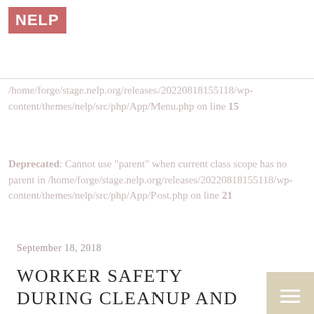[Figure (logo): NELP logo — white text on rose/salmon pink background square]
/home/forge/stage.nelp.org/releases/20220818155118/wp-content/themes/nelp/src/php/App/Menu.php on line 15
Deprecated: Cannot use "parent" when current class scope has no parent in /home/forge/stage.nelp.org/releases/20220818155118/wp-content/themes/nelp/src/php/App/Post.php on line 21
September 18, 2018
WORKER SAFETY DURING CLEANUP AND RECOVERY FROM HURRICANES